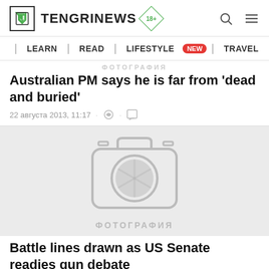TENGRINEWS
| LEARN | READ | LIFESTYLE NEW | TRAVEL |
ФОТОГРАФИЯ
Australian PM says he is far from 'dead and buried'
22 августа 2013, 11:17
[Figure (photo): Camera icon placeholder with ФОТОГРАФИЯ label below]
ФОТОГРАФИЯ
Battle lines drawn as US Senate readies gun debate